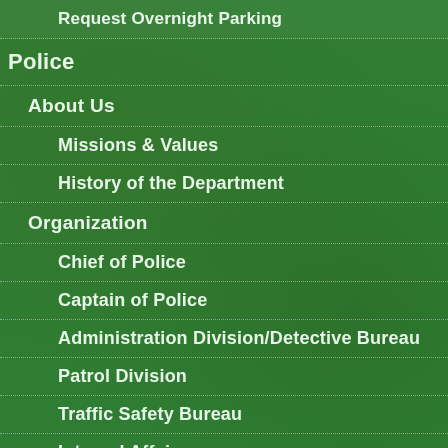Request Overnight Parking
Police
About Us
Missions & Values
History of the Department
Organization
Chief of Police
Captain of Police
Administration Division/Detective Bureau
Patrol Division
Traffic Safety Bureau
Internal Affairs